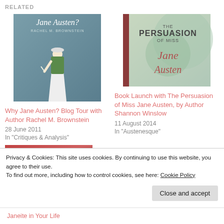RELATED
[Figure (photo): Book cover: Jane Austen? by Rachel M. Brownstein, showing a figurine of a woman in green and white Regency dress holding a quill]
Why Jane Austen? Blog Tour with Author Rachel M. Brownstein
28 June 2011
In "Critiques & Analysis"
[Figure (photo): Book cover: The Persuasion of Miss Jane Austen by Shannon Winslow, green floral background with red spine and script title]
Book Launch with The Persuasion of Miss Jane Austen, by Author Shannon Winslow
11 August 2014
In "Austenesque"
[Figure (photo): Partial view of a third book cover with red pattern, cropped at bottom]
Privacy & Cookies: This site uses cookies. By continuing to use this website, you agree to their use.
To find out more, including how to control cookies, see here: Cookie Policy
Close and accept
Janeite in Your Life